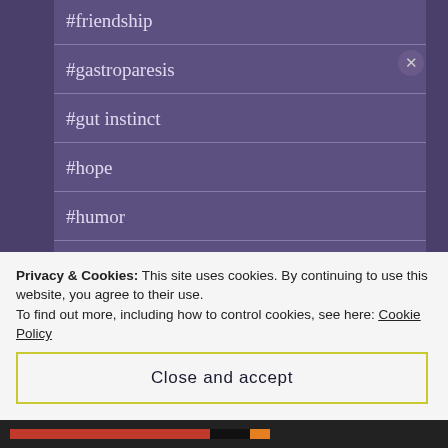#friendship
#gastroparesis
#gut instinct
#hope
#humor
#illness
#inequality
Privacy & Cookies: This site uses cookies. By continuing to use this website, you agree to their use.
To find out more, including how to control cookies, see here: Cookie Policy
Close and accept